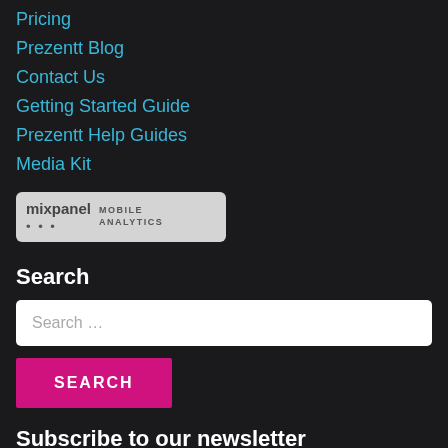Pricing
Prezentt Blog
Contact Us
Getting Started Guide
Prezentt Help Guides
Media Kit
[Figure (logo): Mixpanel Mobile Analytics badge/logo on grey rounded rectangle]
Search
Search …
SEARCH
Subscribe to our newsletter